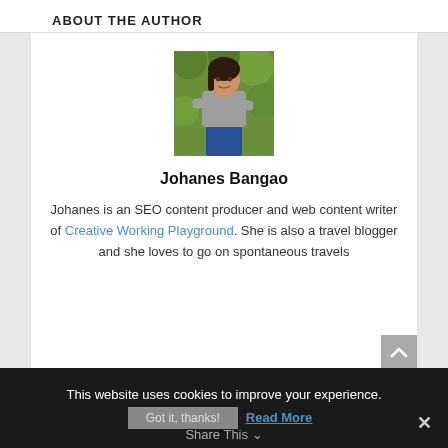ABOUT THE AUTHOR
[Figure (photo): Portrait photo of Johanes Bangao, a woman standing outdoors with arms crossed, wearing a grey sweater and blue jeans, with green foliage background]
Johanes Bangao
Johanes is an SEO content producer and web content writer of Creative Working Playground. She is also a travel blogger and she loves to go on spontaneous travels
1 Comment
This website uses cookies to improve your experience.
Got it, thanks!   Read More
Share This